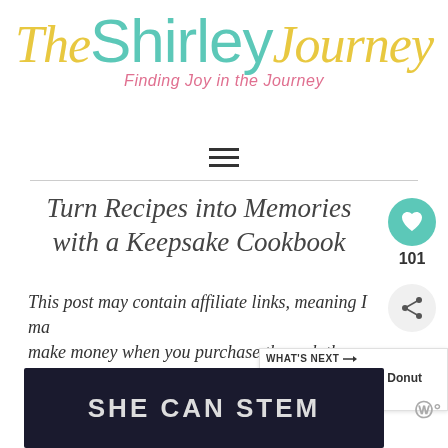[Figure (logo): The Shirley Journey blog logo with tagline 'Finding Joy in the Journey']
[Figure (other): Hamburger menu icon (three horizontal lines)]
Turn Recipes into Memories with a Keepsake Cookbook
This post may contain affiliate links, meaning I ma make money when you purchase through th
For most people, food isn't just about the
[Figure (other): Heart/like button widget showing 101 likes]
[Figure (other): Share button widget]
[Figure (other): WHAT'S NEXT panel showing 8 Chocolate Donut Recipes]
[Figure (other): SHE CAN STEM advertisement image at the bottom]